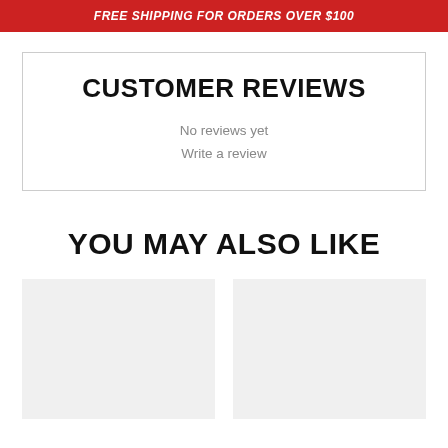FREE SHIPPING FOR ORDERS OVER $100
CUSTOMER REVIEWS
No reviews yet
Write a review
YOU MAY ALSO LIKE
[Figure (other): Two empty product card placeholders displayed side by side in a light gray box]